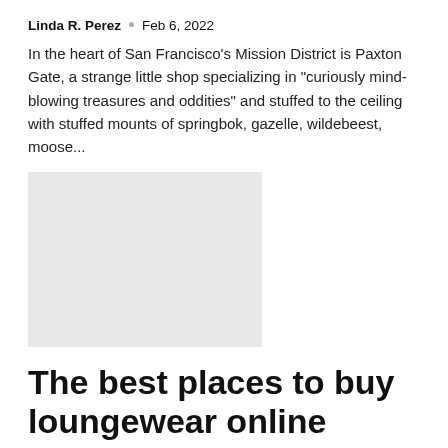Linda R. Perez • Feb 6, 2022
In the heart of San Francisco's Mission District is Paxton Gate, a strange little shop specializing in "curiously mind-blowing treasures and oddities" and stuffed to the ceiling with stuffed mounts of springbok, gazelle, wildebeest, moose...
[Figure (photo): Placeholder image (light gray rectangle)]
The best places to buy loungewear online
Linda R. Perez • Feb 4, 2022
Once upon a time, loungewear was an afterthought. It was the kind